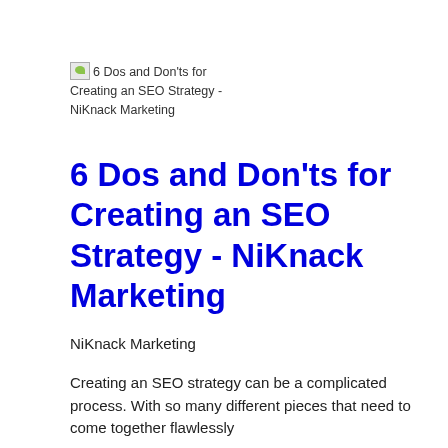6 Dos and Don'ts for Creating an SEO Strategy - NiKnack Marketing
6 Dos and Don'ts for Creating an SEO Strategy - NiKnack Marketing
NiKnack Marketing
Creating an SEO strategy can be a complicated process. With so many different pieces that need to come together flawlessly